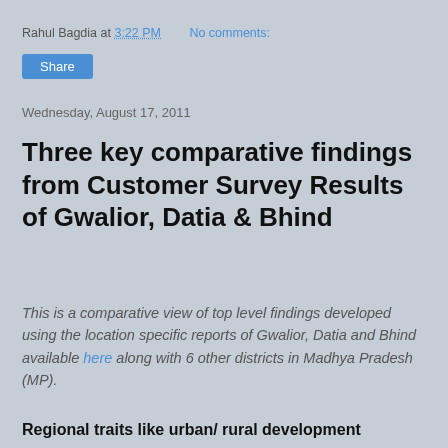Rahul Bagdia at 3:22 PM   No comments:
Share
Wednesday, August 17, 2011
Three key comparative findings from Customer Survey Results of Gwalior, Datia & Bhind
This is a comparative view of top level findings developed using the location specific reports of Gwalior, Datia and Bhind available here along with 6 other districts in Madhya Pradesh (MP).
Regional traits like urban/ rural development